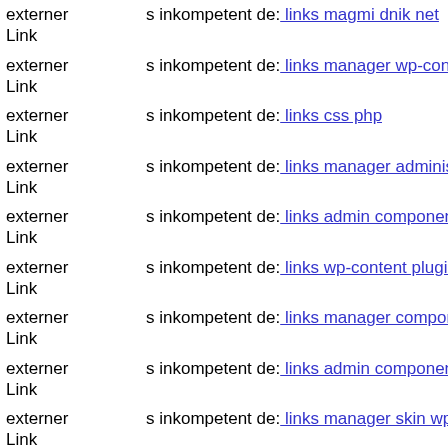externer Link s inkompetent de: links magmi dnik net
externer Link s inkompetent de: links manager wp-content plugins wp-file
externer Link s inkompetent de: links css php
externer Link s inkompetent de: links manager administrator components
externer Link s inkompetent de: links admin components com b2jcontact
externer Link s inkompetent de: links wp-content plugins wp-mobile-dete
externer Link s inkompetent de: links manager components com foxconta
externer Link s inkompetent de: links admin components com media com
externer Link s inkompetent de: links manager skin wp-content plugins w
externer Link s inkompetent de: links phpthumb api includes 1661563260
externer Link s inkompetent de: links wp-content pluginsp
externer Link s inkompetent de: links admin cms wysiwyg directive skin